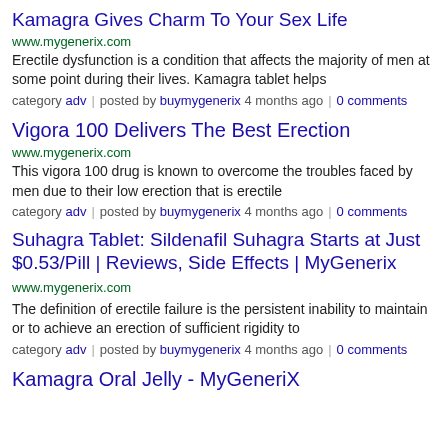Kamagra Gives Charm To Your Sex Life
www.mygenerix.com
Erectile dysfunction is a condition that affects the majority of men at some point during their lives. Kamagra tablet helps
category adv | posted by buymygenerix 4 months ago | 0 comments
Vigora 100 Delivers The Best Erection
www.mygenerix.com
This vigora 100 drug is known to overcome the troubles faced by men due to their low erection that is erectile
category adv | posted by buymygenerix 4 months ago | 0 comments
Suhagra Tablet: Sildenafil Suhagra Starts at Just $0.53/Pill | Reviews, Side Effects | MyGenerix
www.mygenerix.com
The definition of erectile failure is the persistent inability to maintain or to achieve an erection of sufficient rigidity to
category adv | posted by buymygenerix 4 months ago | 0 comments
Kamagra Oral Jelly - MyGeneriX